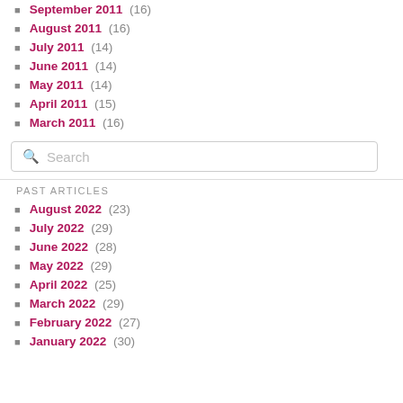September 2011 (16)
August 2011 (16)
July 2011 (14)
June 2011 (14)
May 2011 (14)
April 2011 (15)
March 2011 (16)
PAST ARTICLES
August 2022 (23)
July 2022 (29)
June 2022 (28)
May 2022 (29)
April 2022 (25)
March 2022 (29)
February 2022 (27)
January 2022 (30)